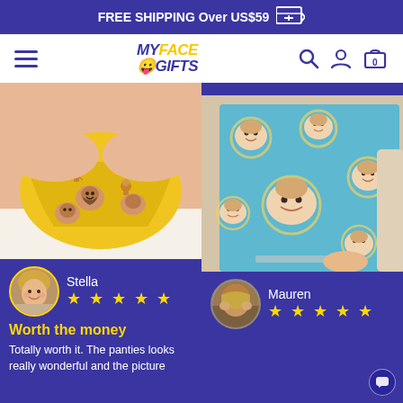FREE SHIPPING Over US$59
[Figure (screenshot): MyFaceGifts website navigation bar with hamburger menu, logo, search, account, and cart icons]
[Figure (photo): Yellow custom-printed panties/underwear with a man's face and gingerbread man design on a woman lying on a white bed]
Stella
★ ★ ★ ★ ★
Worth the money
Totally worth it. The panties looks really wonderful and the picture
[Figure (photo): Blue custom-printed pajamas with a baby's face and egg yolk design, worn by a person relaxing on a bed with a laptop]
Mauren
★ ★ ★ ★ ★